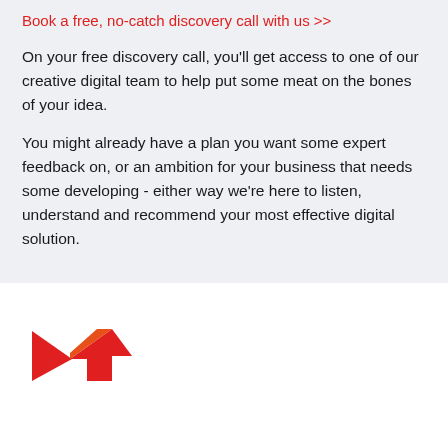Book a free, no-catch discovery call with us >>
On your free discovery call, you'll get access to one of our creative digital team to help put some meat on the bones of your idea.
You might already have a plan you want some expert feedback on, or an ambition for your business that needs some developing - either way we're here to listen, understand and recommend your most effective digital solution.
[Figure (logo): Red zigzag arrow logo pointing right and down]